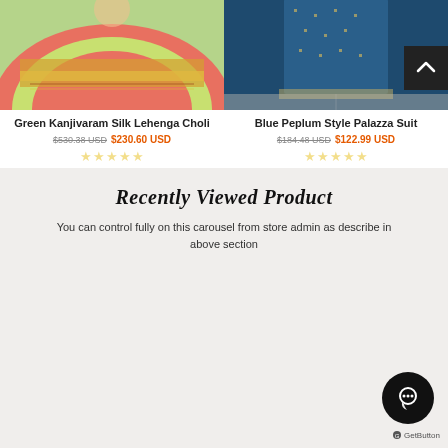[Figure (photo): Green Kanjivaram Silk Lehenga Choli product photo showing colorful green and pink embroidered lehenga]
[Figure (photo): Blue Peplum Style Palazzo Suit product photo showing blue embroidered palazzo suit]
Green Kanjivaram Silk Lehenga Choli
$530.38 USD  $230.60 USD
★★★★★ (0 stars)
Blue Peplum Style Palazza Suit
$184.48 USD  $122.99 USD
★★★★★ (0 stars)
Recently Viewed Product
You can control fully on this carousel from store admin as describe in above section